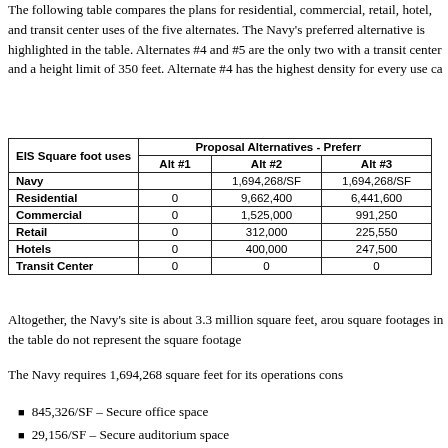The following table compares the plans for residential, commercial, retail, hotel, and transit center uses of the five alternates. The Navy's preferred alternative is highlighted in the table. Alternates #4 and #5 are the only two with a transit center and a height limit of 350 feet. Alternate #4 has the highest density for every use category.
| EIS Square foot uses | Alt #1 | Alt #2 | Alt #3 |
| --- | --- | --- | --- |
| Navy |  | 1,694,268/SF | 1,694,268/SF |
| Residential | 0 | 9,662,400 | 6,441,600 |
| Commercial | 0 | 1,525,000 | 991,250 |
| Retail | 0 | 312,000 | 225,550 |
| Hotels | 0 | 400,000 | 247,500 |
| Transit Center | 0 | 0 | 0 |
Altogether, the Navy's site is about 3.3 million square feet, around 75 acres. The square footages in the table do not represent the square footage of buildings.
The Navy requires 1,694,268 square feet for its operations consisting of:
845,326/SF – Secure office space
29,156/SF – Secure auditorium space